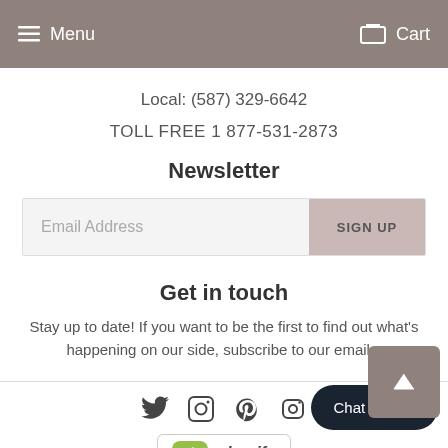Menu  Cart
Local: (587) 329-6642
TOLL FREE 1 877-531-2873
Newsletter
Email Address  SIGN UP
Get in touch
Stay up to date! If you want to be the first to find out what's happening on our side, subscribe to our emails.
[Figure (logo): Social media icons: Twitter, Facebook, Pinterest, Instagram]
[Figure (logo): Shopify Secure badge with green shopping bag logo]
Chat with us